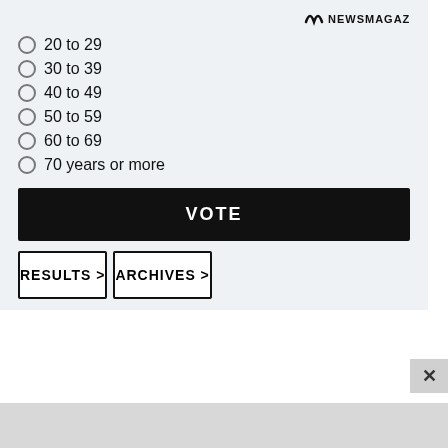[Figure (logo): News Magazine logo with tilde symbol and NEWSMAGAZINE text]
20 to 29
30 to 39
40 to 49
50 to 59
60 to 69
70 years or more
VOTE
RESULTS >
ARCHIVES >